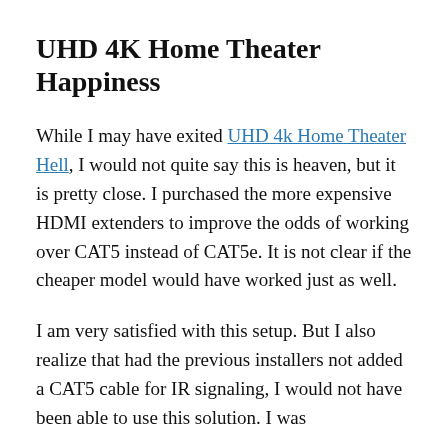UHD 4K Home Theater Happiness
While I may have exited UHD 4k Home Theater Hell, I would not quite say this is heaven, but it is pretty close. I purchased the more expensive HDMI extenders to improve the odds of working over CAT5 instead of CAT5e. It is not clear if the cheaper model would have worked just as well.
I am very satisfied with this setup. But I also realize that had the previous installers not added a CAT5 cable for IR signaling, I would not have been able to use this solution. I was